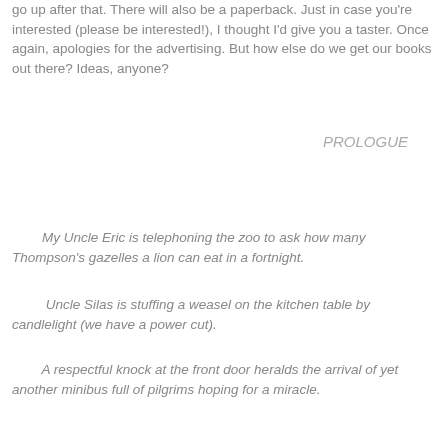go up after that. There will also be a paperback. Just in case you're interested (please be interested!), I thought I'd give you a taster. Once again, apologies for the advertising. But how else do we get our books out there? Ideas, anyone?
PROLOGUE
My Uncle Eric is telephoning the zoo to ask how many Thompson's gazelles a lion can eat in a fortnight.
Uncle Silas is stuffing a weasel on the kitchen table by candlelight (we have a power cut).
A respectful knock at the front door heralds the arrival of yet another minibus full of pilgrims hoping for a miracle.